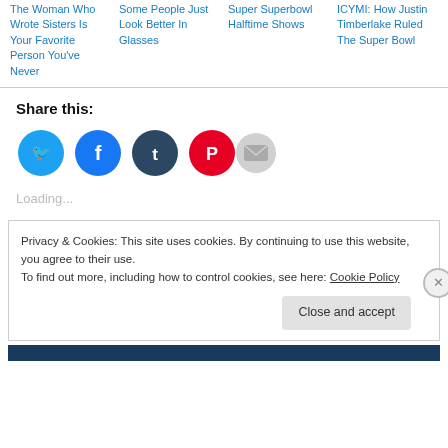The Woman Who Wrote Sisters Is Your Favorite Person You've Never
Some People Just Look Better In Glasses
Super Superbowl Halftime Shows
ICYMI: How Justin Timberlake Ruled The Super Bowl
Share this:
[Figure (infographic): Social share buttons: Twitter (blue), Facebook (blue), Tumblr (dark navy), Pinterest (red), Email (gray)]
Loading...
Privacy & Cookies: This site uses cookies. By continuing to use this website, you agree to their use.
To find out more, including how to control cookies, see here: Cookie Policy
Close and accept